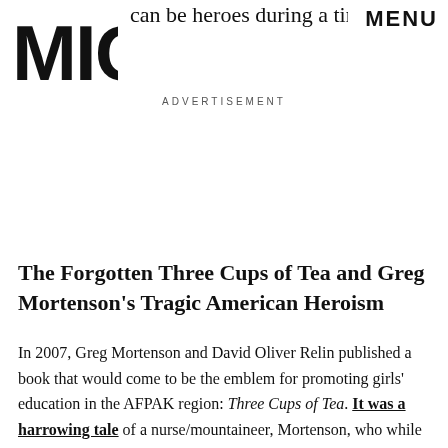can be heroes during a time of moral inconvenience. MENU
[Figure (logo): MIC logo — bold stylized letters M I C stacked]
ADVERTISEMENT
The Forgotten Three Cups of Tea and Greg Mortenson's Tragic American Heroism
In 2007, Greg Mortenson and David Oliver Relin published a book that would come to be the emblem for promoting girls' education in the AFPAK region: Three Cups of Tea. It was a harrowing tale of a nurse/mountaineer, Mortenson, who while seeking a